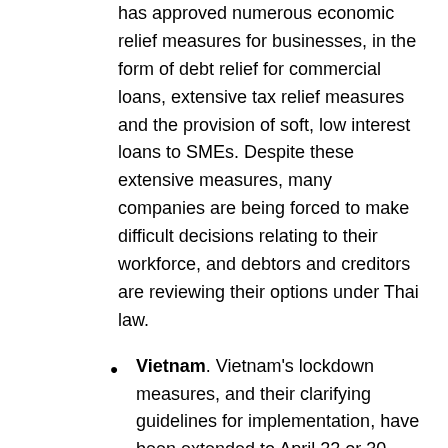has approved numerous economic relief measures for businesses, in the form of debt relief for commercial loans, extensive tax relief measures and the provision of soft, low interest loans to SMEs. Despite these extensive measures, many companies are being forced to make difficult decisions relating to their workforce, and debtors and creditors are reviewing their options under Thai law.
Vietnam. Vietnam's lockdown measures, and their clarifying guidelines for implementation, have been extended to April 22 or 30, depending on the level of risk from location to location. Financial relief for both employers and employees has been announced, and tax and land rental relief has been provided for companies in certain sectors. Many government offices, including the Intellectual Property Office of Vietnam, are physically closed until further notice, but